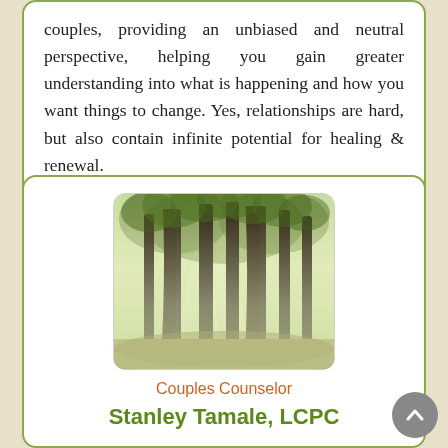couples, providing an unbiased and neutral perspective, helping you gain greater understanding into what is happening and how you want things to change. Yes, relationships are hard, but also contain infinite potential for healing & renewal.
[Figure (photo): A misty forest with tall trees and rays of sunlight streaming through, creating a serene, atmospheric woodland scene]
Couples Counselor
Stanley Tamale, LCPC